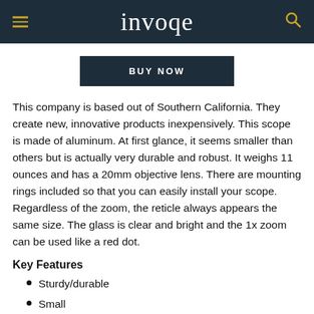invoqe
BUY NOW
This company is based out of Southern California. They create new, innovative products inexpensively. This scope is made of aluminum. At first glance, it seems smaller than others but is actually very durable and robust. It weighs 11 ounces and has a 20mm objective lens. There are mounting rings included so that you can easily install your scope. Regardless of the zoom, the reticle always appears the same size. The glass is clear and bright and the 1x zoom can be used like a red dot.
Key Features
Sturdy/durable
Small